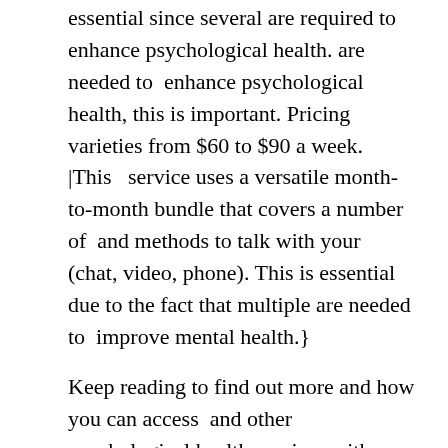essential since several are required to enhance psychological health. are needed to enhance psychological health, this is important. Pricing varieties from $60 to $90 a week. |This service uses a versatile month-to-month bundle that covers a number of and methods to talk with your (chat, video, phone). This is essential due to the fact that multiple are needed to improve mental health.}
Keep reading to find out more and how you can access and other psychological health services with or without insurance.
a subscription model. This suggests your charge covers numerous and other interaction with your
The charge ranges from $60 to $90 weekly and is billed monthly. You'll be charged between $240 and $320 per month, payable via a charge card or PayPal.